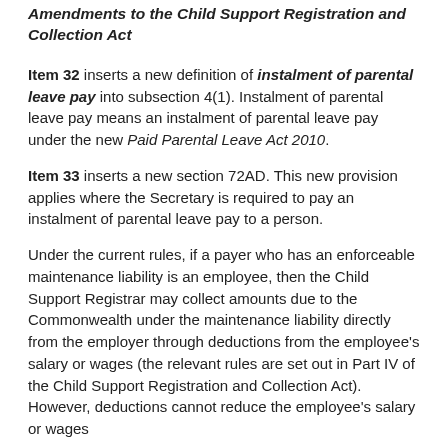Amendments to the Child Support Registration and Collection Act
Item 32 inserts a new definition of instalment of parental leave pay into subsection 4(1). Instalment of parental leave pay means an instalment of parental leave pay under the new Paid Parental Leave Act 2010.
Item 33 inserts a new section 72AD. This new provision applies where the Secretary is required to pay an instalment of parental leave pay to a person.
Under the current rules, if a payer who has an enforceable maintenance liability is an employee, then the Child Support Registrar may collect amounts due to the Commonwealth under the maintenance liability directly from the employer through deductions from the employee's salary or wages (the relevant rules are set out in Part IV of the Child Support Registration and Collection Act). However, deductions cannot reduce the employee's salary or wages to an amount which is below the protected earnings amount.